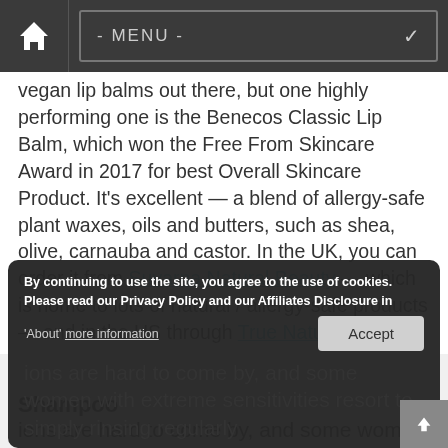- MENU -
vegan lip balms out there, but one highly performing one is the Benecos Classic Lip Balm, which won the Free From Skincare Award in 2017 for best Overall Skincare Product. It's excellent — a blend of allergy-safe plant waxes, oils and butters, such as shea, olive, carnauba and castor. In the UK, you can order it from Suvarna Natural Beauty — which is home to lots of natural / allergy-safe products — and in the US through True Natural.
Shampoo
By continuing to use the site, you agree to the use of cookies. Please read our Privacy Policy and our Affiliates Disclosure in 'About' more information
ions are hard to come by, and some women with extreme sensitivities resort to simply rinsing regularly